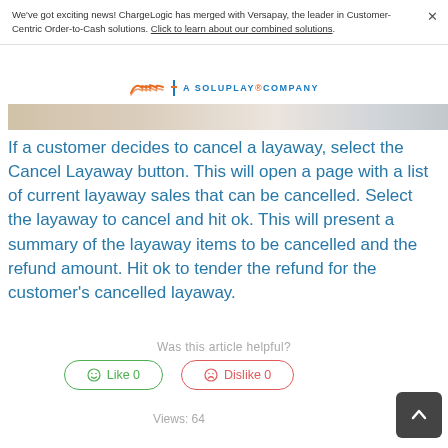We've got exciting news! ChargeLogic has merged with Versapay, the leader in Customer-Centric Order-to-Cash solutions. Click to learn about our combined solutions.
[Figure (logo): ChargeLogic / SoluPay company logo with orange wing icon and blue text 'A SOLUPAY COMPANY']
[Figure (screenshot): Partial screenshot strip showing a UI element]
If a customer decides to cancel a layaway, select the Cancel Layaway button. This will open a page with a list of current layaway sales that can be cancelled. Select the layaway to cancel and hit ok. This will present a summary of the layaway items to be cancelled and the refund amount. Hit ok to tender the refund for the customer's cancelled layaway.
Was this article helpful?
☺ Like 0
☹ Dislike 0
Views: 64